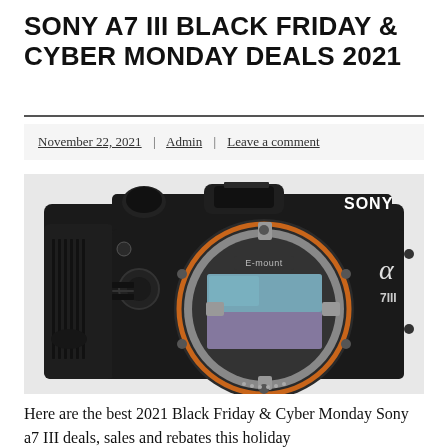SONY A7 III BLACK FRIDAY & CYBER MONDAY DEALS 2021
November 22, 2021 | Admin | Leave a comment
[Figure (photo): Sony A7 III mirrorless camera body with E-mount lens mount exposed, showing the full-frame sensor, orange ring, and Sony branding. Camera body shown in black with leather-textured grip.]
Here are the best 2021 Black Friday & Cyber Monday Sony a7 III deals, sales and rebates this holiday